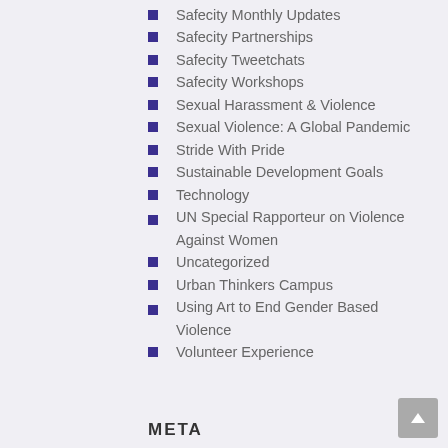Safecity Monthly Updates
Safecity Partnerships
Safecity Tweetchats
Safecity Workshops
Sexual Harassment & Violence
Sexual Violence: A Global Pandemic
Stride With Pride
Sustainable Development Goals
Technology
UN Special Rapporteur on Violence Against Women
Uncategorized
Urban Thinkers Campus
Using Art to End Gender Based Violence
Volunteer Experience
META